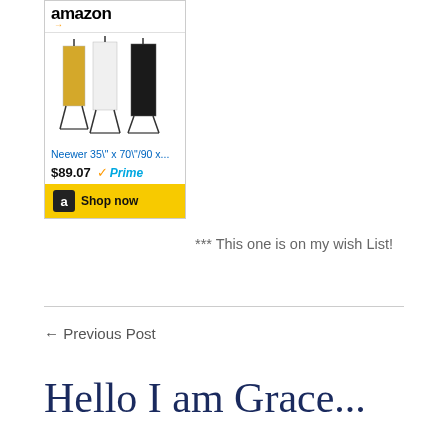[Figure (screenshot): Amazon product widget showing Neewer 35" x 70"/90 x... backdrop kit with stands, priced at $89.07 with Prime badge, Shop now button, and Amazon logo at top.]
*** This one is on my wish List!
← Previous Post
Hello I am Grace...